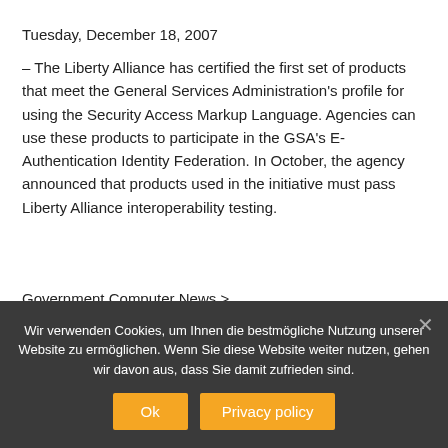Tuesday, December 18, 2007
– The Liberty Alliance has certified the first set of products that meet the General Services Administration's profile for using the Security Access Markup Language. Agencies can use these products to participate in the GSA's E-Authentication Identity Federation. In October, the agency announced that products used in the initiative must pass Liberty Alliance interoperability testing.
Government Computer News >
Liberty Alliance Unveils Improved
Wir verwenden Cookies, um Ihnen die bestmögliche Nutzung unserer Website zu ermöglichen. Wenn Sie diese Website weiter nutzen, gehen wir davon aus, dass Sie damit zufrieden sind.